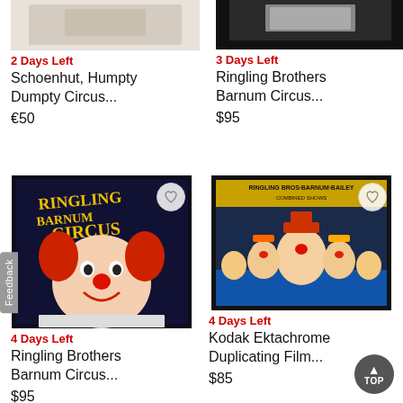[Figure (photo): Partial top of a Schoenhut Humpty Dumpty Circus item photo, cropped at top]
[Figure (photo): Partial top of a Ringling Brothers Barnum Circus item photo, cropped at top]
2 Days Left
Schoenhut, Humpty Dumpty Circus...
€50
3 Days Left
Ringling Brothers Barnum Circus...
$95
[Figure (photo): Ringling Bros Barnum Bailey Circus clown poster artwork with heart/favorite button]
[Figure (photo): Ringling Bros Barnum Bailey Circus combined shows clowns group photo in black frame with heart/favorite button]
4 Days Left
Ringling Brothers Barnum Circus...
$95
4 Days Left
Kodak Ektachrome Duplicating Film...
$85